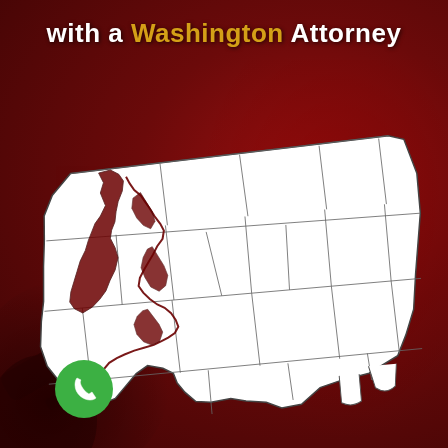with a Washington Attorney
[Figure (map): White outline map of Washington State showing county boundaries, with Puget Sound coastline detail in dark red/maroon. Set against a dark red background with a gavel shadow visible.]
[Figure (other): Green circular phone/call button icon in the bottom left area]